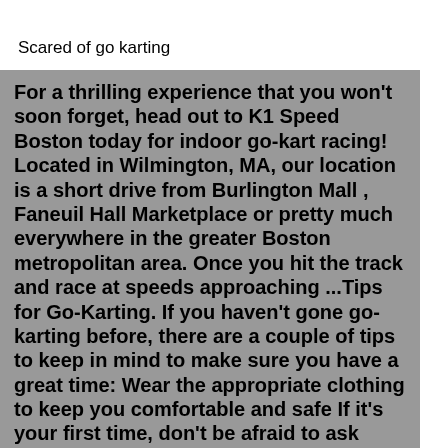Scared of go karting
For a thrilling experience that you won't soon forget, head out to K1 Speed Boston today for indoor go-kart racing! Located in Wilmington, MA, our location is a short drive from Burlington Mall , Faneuil Hall Marketplace or pretty much everywhere in the greater Boston metropolitan area. Once you hit the track and race at speeds approaching ...Tips for Go-Karting. If you haven’t gone go-karting before, there are a couple of tips to keep in mind to make sure you have a great time: Wear the appropriate clothing to keep you comfortable and safe If it’s your first time, don’t be afraid to ask questions before you begin Make sure your helmet is not too loose or too tight Wood frame glasses making experience The other day, I had a wooden frame glasses making experience with my BFF. Wooden frame glasses are very fashionable and also weight lightly, it is a fashion item